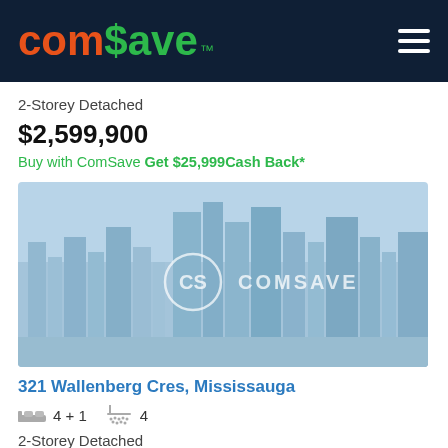comSave
2-Storey Detached
$2,599,900
Buy with ComSave Get $25,999Cash Back*
[Figure (photo): ComSave branded placeholder image showing a city skyline in blue tones with the ComSave CS logo watermark in the center]
321 Wallenberg Cres, Mississauga
4 + 1  4
2-Storey Detached
$1,449,900